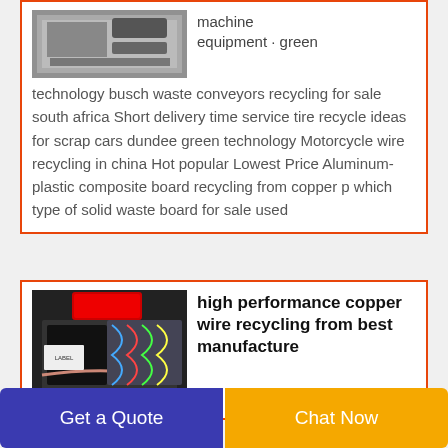[Figure (photo): Industrial recycling machine equipment viewed from above, dark metallic components on conveyor]
machine equipment · green technology busch waste conveyors recycling for sale south africa Short delivery time service tire recycle ideas for scrap cars dundee green technology Motorcycle wire recycling in china Hot popular Lowest Price Aluminum-plastic composite board recycling from copper p which type of solid waste board for sale used
[Figure (photo): High performance copper wire recycling machine with red and black components, colorful wires in background]
high performance copper wire recycling from best manufacture
Get a Quote
Chat Now